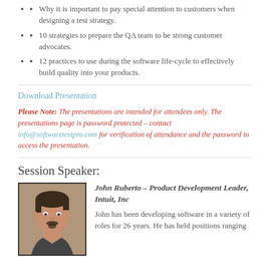Why it is important to pay special attention to customers when designing a test strategy.
10 strategies to prepare the QA team to be strong customer advocates.
12 practices to use during the software life-cycle to effectively build quality into your products.
Download Presentation
Please Note: The presentations are intended for attendees only. The presentations page is password protected – contact info@softwaretestpro.com for verification of attendance and the password to access the presentation.
Session Speaker:
[Figure (photo): Headshot photo of John Ruberto, a middle-aged man with dark hair and a goatee.]
John Ruberto – Product Development Leader, Intuit, Inc
John has been developing software in a variety of roles for 26 years. He has held positions ranging